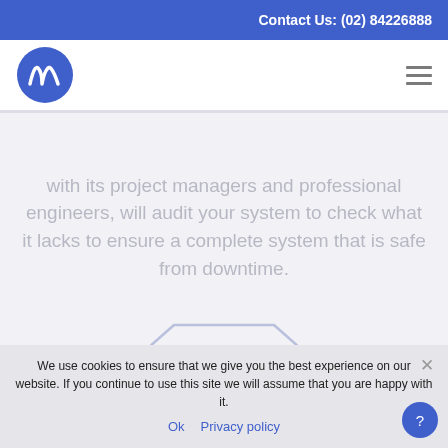Contact Us: (02) 84226888
[Figure (logo): Blue circular logo with white stylized 'M' or wave mark]
with its project managers and professional engineers, will audit your system to check what it lacks to ensure a complete system that is safe from downtime.
[Figure (illustration): Partial trapezoid/arch shape outline in light blue-gray color]
We use cookies to ensure that we give you the best experience on our website. If you continue to use this site we will assume that you are happy with it.
Ok   Privacy policy